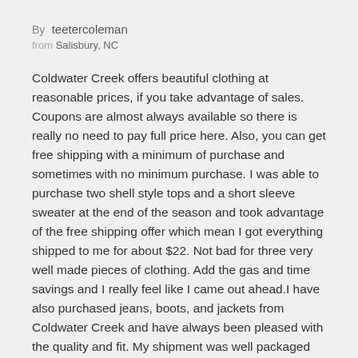By teetercoleman
from Salisbury, NC
Coldwater Creek offers beautiful clothing at reasonable prices, if you take advantage of sales. Coupons are almost always available so there is really no need to pay full price here. Also, you can get free shipping with a minimum of purchase and sometimes with no minimum purchase. I was able to purchase two shell style tops and a short sleeve sweater at the end of the season and took advantage of the free shipping offer which mean I got everything shipped to me for about $22. Not bad for three very well made pieces of clothing. Add the gas and time savings and I really feel like I came out ahead.I have also purchased jeans, boots, and jackets from Coldwater Creek and have always been pleased with the quality and fit. My shipment was well packaged and arrived within the stated delivery time. I would highly recommend this site for women's apparel purchases.
Bottom: Above: Most recent with most recent with bottom of the page